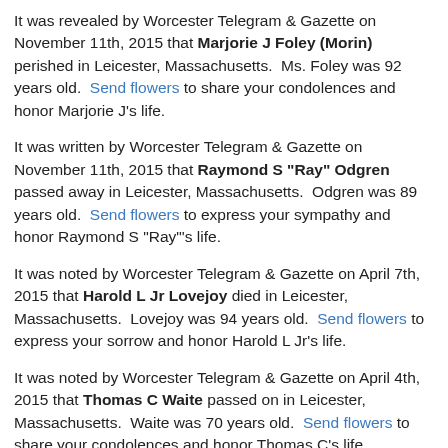It was revealed by Worcester Telegram & Gazette on November 11th, 2015 that Marjorie J Foley (Morin) perished in Leicester, Massachusetts.  Ms. Foley was 92 years old.  Send flowers to share your condolences and honor Marjorie J's life.
It was written by Worcester Telegram & Gazette on November 11th, 2015 that Raymond S "Ray" Odgren passed away in Leicester, Massachusetts.  Odgren was 89 years old.  Send flowers to express your sympathy and honor Raymond S "Ray"'s life.
It was noted by Worcester Telegram & Gazette on April 7th, 2015 that Harold L Jr Lovejoy died in Leicester, Massachusetts.  Lovejoy was 94 years old.  Send flowers to express your sorrow and honor Harold L Jr's life.
It was noted by Worcester Telegram & Gazette on April 4th, 2015 that Thomas C Waite passed on in Leicester, Massachusetts.  Waite was 70 years old.  Send flowers to share your condolences and honor Thomas C's life.
It was noted by Worcester Telegram & Gazette on March 11th,